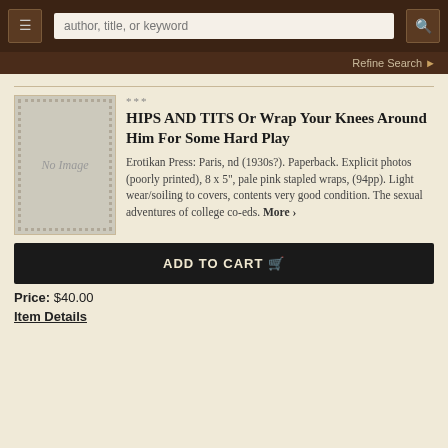author, title, or keyword [search bar]
Refine Search
***
HIPS AND TITS Or Wrap Your Knees Around Him For Some Hard Play
Erotikan Press: Paris, nd (1930s?). Paperback. Explicit photos (poorly printed), 8 x 5", pale pink stapled wraps, (94pp). Light wear/soiling to covers, contents very good condition. The sexual adventures of college co-eds. More ›
ADD TO CART
Price: $40.00
Item Details